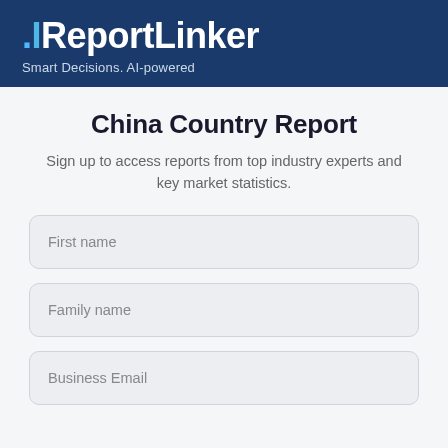ReportLinker — Smart Decisions. AI-powered
China Country Report
Sign up to access reports from top industry experts and key market statistics.
First name
Family name
Business Email